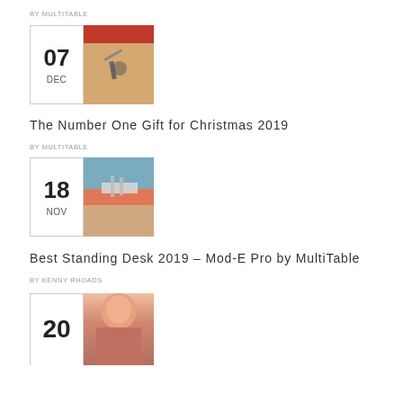BY MULTITABLE
[Figure (photo): Aerial view of person working at standing desk with red accent]
The Number One Gift for Christmas 2019
BY MULTITABLE
[Figure (photo): Office building exterior with standing desk product visible]
Best Standing Desk 2019 – Mod-E Pro by MultiTable
BY KENNY RHOADS
[Figure (photo): Person with red hair, partial view at bottom]